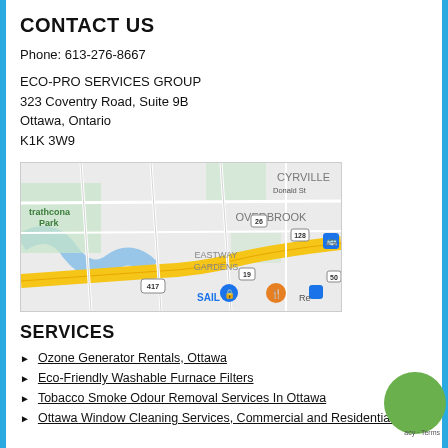CONTACT US
Phone: 613-276-8667
ECO-PRO SERVICES GROUP
323 Coventry Road, Suite 9B
Ottawa, Ontario
K1K 3W9
[Figure (map): Google Maps screenshot showing Ottawa area including Strathcona Park, Overbrook, Cyrville, Eastway Gardens neighbourhoods with highway 417, 50, 19, 26, 128 markers and SAIL store pin]
SERVICES
Ozone Generator Rentals, Ottawa
Eco-Friendly Washable Furnace Filters
Tobacco Smoke Odour Removal Services In Ottawa
Ottawa Window Cleaning Services, Commercial and Residential